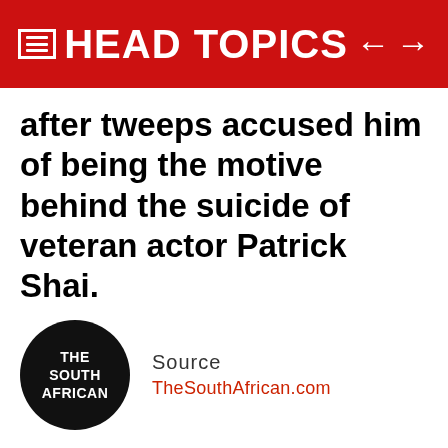HEAD TOPICS
after tweeps accused him of being the motive behind the suicide of veteran actor Patrick Shai.
[Figure (logo): The South African circular logo — black circle with white text reading THE SOUTH AFRICAN]
Source
TheSouthAfrican.com